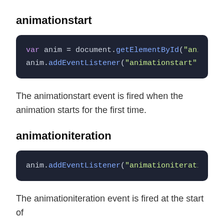animationstart
[Figure (screenshot): Code block showing: var anim = document.getElementById("anim and anim.addEventListener("animationstart",]
The animationstart event is fired when the animation starts for the first time.
animationiteration
[Figure (screenshot): Code block showing: anim.addEventListener("animationiteratio]
The animationiteration event is fired at the start of